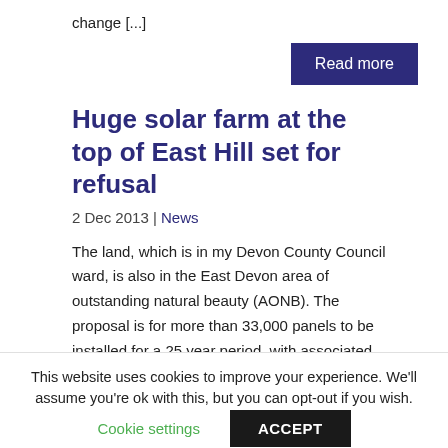change [...]
Read more
Huge solar farm at the top of East Hill set for refusal
2 Dec 2013 | News
The land, which is in my Devon County Council ward, is also in the East Devon area of outstanding natural beauty (AONB). The proposal is for more than 33,000 panels to be installed for a 25 year period, with associated buildings and infrastructure. The
This website uses cookies to improve your experience. We'll assume you're ok with this, but you can opt-out if you wish.
Cookie settings
ACCEPT